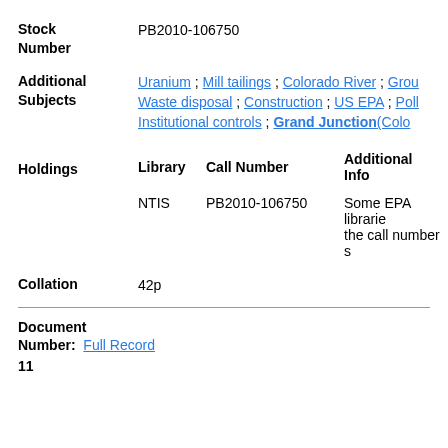Stock Number: PB2010-106750
Additional Subjects: Uranium ; Mill tailings ; Colorado River ; Grou Waste disposal ; Construction ; US EPA ; Poll Institutional controls ; Grand Junction(Colo
| Library | Call Number | Additional Info |
| --- | --- | --- |
| NTIS | PB2010-106750 | Some EPA libraries the call number s |
Holdings
Collation: 42p
Document Number: Full Record
11